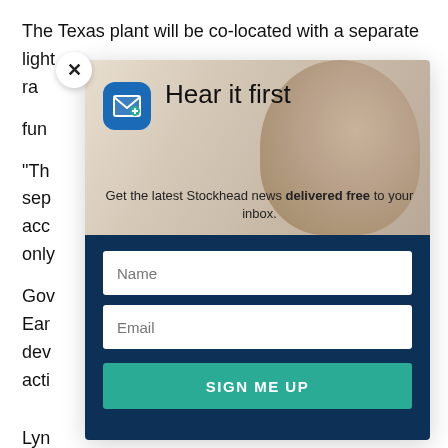The Texas plant will be co-located with a separate light ra... fun... 25. "Th... sep... acc... only... Gov... Ear... dev... d acti... Lyn...
[Figure (screenshot): A newsletter signup modal popup overlaid on an article. The modal has a header section with a beige/tan background showing a groundhog, a blue envelope icon, and the headline 'Hear it first'. Below is a subtitle 'Get the latest Stockhead news delivered free to your inbox.' The lower section has a dark navy blue background with a Name input field, an Email input field, and a teal 'SIGN ME UP' button. A close (X) button appears in the top-left corner of the modal.]